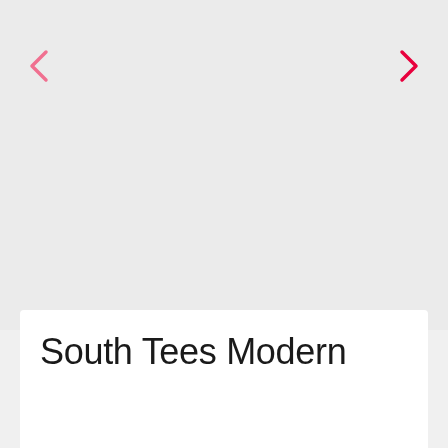[Figure (screenshot): Image carousel area with light gray background, showing navigation arrows on left and right sides. Left arrow is a pink/light chevron, right arrow is a hot pink/red chevron. The main image area appears empty or not loaded.]
South Tees Modern